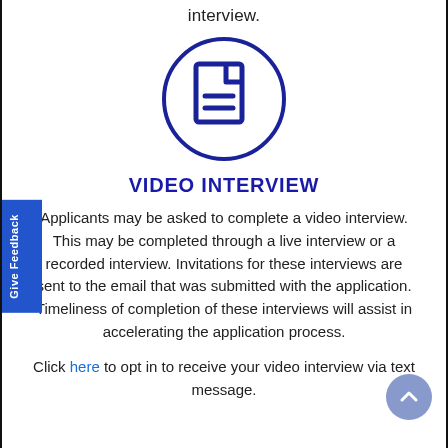interview.
[Figure (illustration): A dark blue document/file icon inside a dark blue circle outline. The icon shows a page with a folded top-right corner and two horizontal lines representing text.]
VIDEO INTERVIEW
Applicants may be asked to complete a video interview. This may be completed through a live interview or a recorded interview. Invitations for these interviews are sent to the email that was submitted with the application. Timeliness of completion of these interviews will assist in accelerating the application process.
Click here to opt in to receive your video interview via text message.